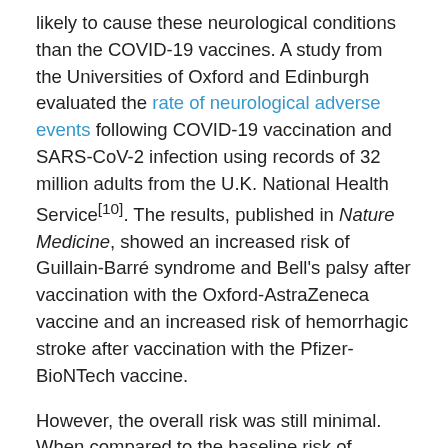likely to cause these neurological conditions than the COVID-19 vaccines. A study from the Universities of Oxford and Edinburgh evaluated the rate of neurological adverse events following COVID-19 vaccination and SARS-CoV-2 infection using records of 32 million adults from the U.K. National Health Service[10]. The results, published in Nature Medicine, showed an increased risk of Guillain-Barré syndrome and Bell's palsy after vaccination with the Oxford-AstraZeneca vaccine and an increased risk of hemorrhagic stroke after vaccination with the Pfizer-BioNTech vaccine.
However, the overall risk was still minimal. When compared to the baseline risk of developing Guillain-Barré syndrome, researchers observed 145 more cases per 10 million people among those who were infected, as compared to 38 more cases per 10 million people among those who were vaccinated, more than a four-fold difference.
The results from these studies demonstrate that even